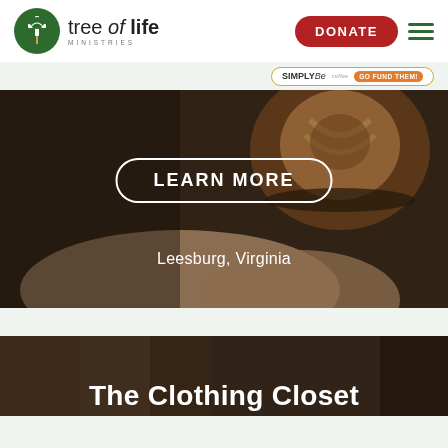tree of life MINISTRIES
[Figure (logo): Tree of Life Ministries logo - green circle with tree/cross icon]
[Figure (other): Red donate button]
[Figure (other): SimplyBe Go Fund Them ad badge]
[Figure (photo): Coffee latte art in a cup with hands, with a LEARN MORE button overlay and text Leesburg, Virginia]
Leesburg, Virginia
The Clothing Closet